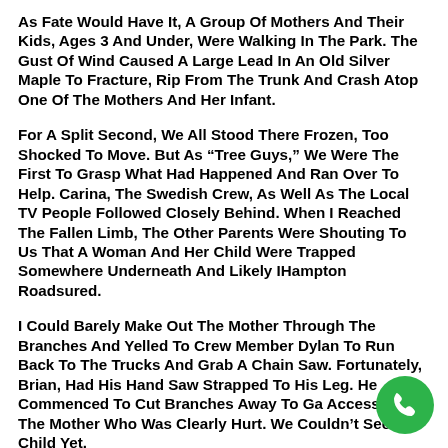As Fate Would Have It, A Group Of Mothers And Their Kids, Ages 3 And Under, Were Walking In The Park. The Gust Of Wind Caused A Large Lead In An Old Silver Maple To Fracture, Rip From The Trunk And Crash Atop One Of The Mothers And Her Infant.
For A Split Second, We All Stood There Frozen, Too Shocked To Move. But As “Tree Guys,” We Were The First To Grasp What Had Happened And Ran Over To Help. Carina, The Swedish Crew, As Well As The Local TV People Followed Closely Behind. When I Reached The Fallen Limb, The Other Parents Were Shouting To Us That A Woman And Her Child Were Trapped Somewhere Underneath And Likely IHampton Roadsured.
I Could Barely Make Out The Mother Through The Branches And Yelled To Crew Member Dylan To Run Back To The Trucks And Grab A Chain Saw. Fortunately, Brian, Had His Hand Saw Strapped To His Leg. He Commenced To Cut Branches Away To Ga Access To The Mother Who Was Clearly Hurt. We Couldn’t See The Child Yet.
[Figure (other): Green circular phone/call button icon in the bottom-right corner]